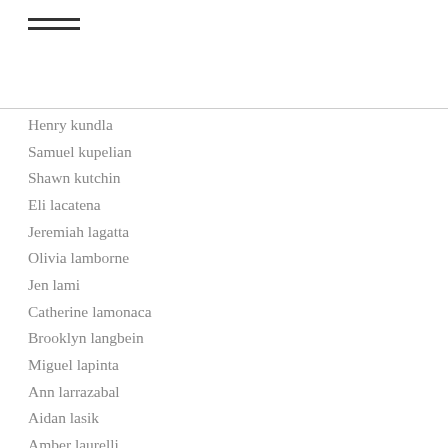≡
Henry kundla
Samuel kupelian
Shawn kutchin
Eli lacatena
Jeremiah lagatta
Olivia lamborne
Jen lami
Catherine lamonaca
Brooklyn langbein
Miguel lapinta
Ann larrazabal
Aidan lasik
Amber laurelli
Cathy lavasseur
Nathan lawshe
Aiden leckington
Dave lehnertz